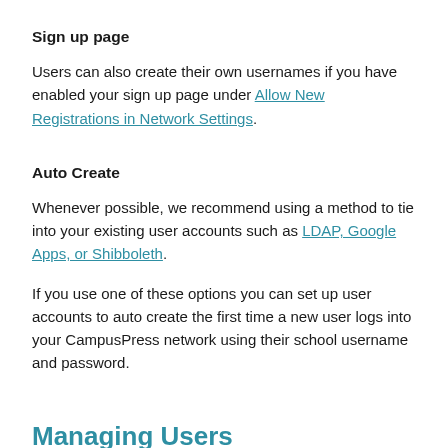Sign up page
Users can also create their own usernames if you have enabled your sign up page under Allow New Registrations in Network Settings.
Auto Create
Whenever possible, we recommend using a method to tie into your existing user accounts such as LDAP, Google Apps, or Shibboleth.
If you use one of these options you can set up user accounts to auto create the first time a new user logs into your CampusPress network using their school username and password.
Managing Users